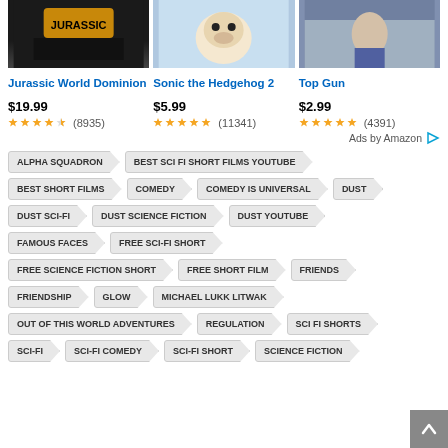[Figure (photo): Product image for Jurassic World Dominion (partial, dark)]
[Figure (photo): Product image for Sonic the Hedgehog 2 (animated character)]
[Figure (photo): Product image for Top Gun (person with camera)]
Jurassic World Dominion
Sonic the Hedgehog 2
Top Gun
$19.99  ★★★★☆ (8935)
$5.99  ★★★★★ (11341)
$2.99  ★★★★★ (4391)
Ads by Amazon
ALPHA SQUADRON
BEST SCI FI SHORT FILMS YOUTUBE
BEST SHORT FILMS
COMEDY
COMEDY IS UNIVERSAL
DUST
DUST SCI-FI
DUST SCIENCE FICTION
DUST YOUTUBE
FAMOUS FACES
FREE SCI-FI SHORT
FREE SCIENCE FICTION SHORT
FREE SHORT FILM
FRIENDS
FRIENDSHIP
GLOW
MICHAEL LUKK LITWAK
OUT OF THIS WORLD ADVENTURES
REGULATION
SCI FI SHORTS
SCI-FI
SCI-FI COMEDY
SCI-FI SHORT
SCIENCE FICTION